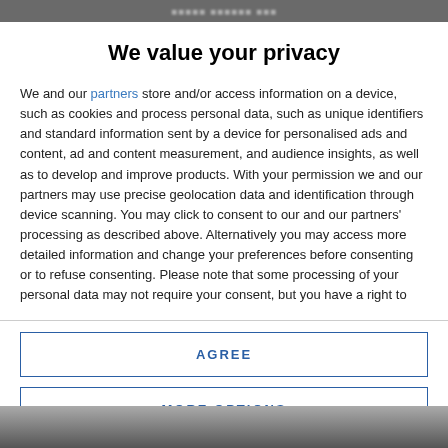We value your privacy
We and our partners store and/or access information on a device, such as cookies and process personal data, such as unique identifiers and standard information sent by a device for personalised ads and content, ad and content measurement, and audience insights, as well as to develop and improve products. With your permission we and our partners may use precise geolocation data and identification through device scanning. You may click to consent to our and our partners' processing as described above. Alternatively you may access more detailed information and change your preferences before consenting or to refuse consenting. Please note that some processing of your personal data may not require your consent, but you have a right to
AGREE
MORE OPTIONS
[Figure (photo): Bottom strip showing a blurred/cropped image at the bottom of the page]